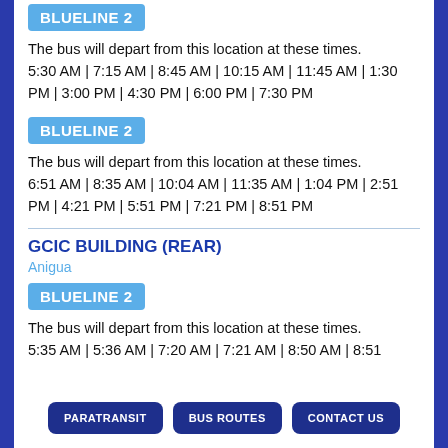BLUELINE 2
The bus will depart from this location at these times.
5:30 AM | 7:15 AM | 8:45 AM | 10:15 AM | 11:45 AM | 1:30 PM | 3:00 PM | 4:30 PM | 6:00 PM | 7:30 PM
BLUELINE 2
The bus will depart from this location at these times.
6:51 AM | 8:35 AM | 10:04 AM | 11:35 AM | 1:04 PM | 2:51 PM | 4:21 PM | 5:51 PM | 7:21 PM | 8:51 PM
GCIC BUILDING (REAR)
Anigua
BLUELINE 2
The bus will depart from this location at these times.
5:35 AM | 5:36 AM | 7:20 AM | 7:21 AM | 8:50 AM | 8:51
PARATRANSIT  BUS ROUTES  CONTACT US